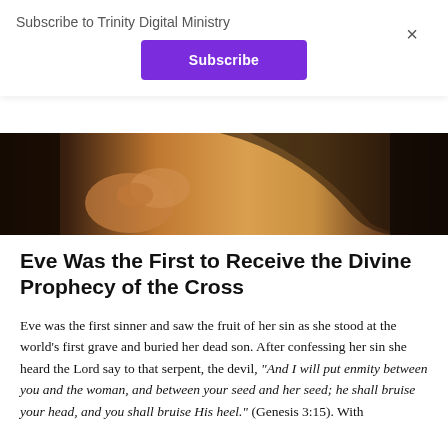Subscribe to Trinity Digital Ministry
Subscribe
×
[Figure (illustration): Partial view of a classical oil painting depicting a woman's upper body and hand, with warm golden and dark background tones, likely depicting Eve from the Bible.]
Eve Was the First to Receive the Divine Prophecy of the Cross
Eve was the first sinner and saw the fruit of her sin as she stood at the world's first grave and buried her dead son. After confessing her sin she heard the Lord say to that serpent, the devil, "And I will put enmity between you and the woman, and between your seed and her seed; he shall bruise your head, and you shall bruise His heel." (Genesis 3:15). With this first prophecy of the Redeemer, the greatest trouble that the world…